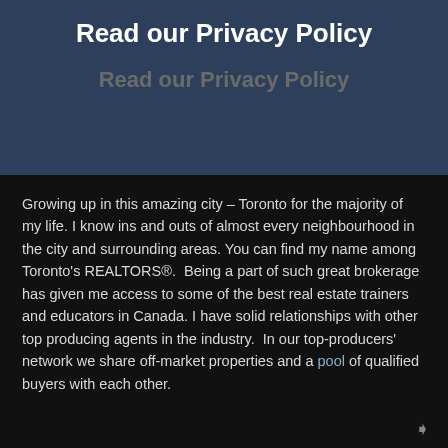Read our Privacy Policy
Read our Privacy Policy
Growing up in this amazing city – Toronto for the majority of my life. I know ins and outs of almost every neighbourhood in the city and surrounding areas. You can find my name among Toronto's REALTORS®.  Being a part of such great brokerage has given me access to some of the best real estate trainers and educators in Canada. I have solid relationships with other top producing agents in the industry.  In our top-producers' network we share off-market properties and a pool of qualified buyers with each other.